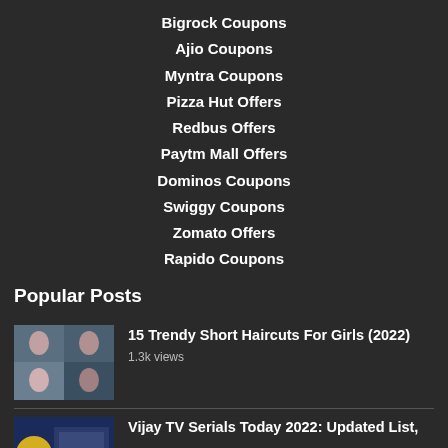Bigrock Coupons
Ajio Coupons
Myntra Coupons
Pizza Hut Offers
Redbus Offers
Paytm Mall Offers
Dominos Coupons
Swiggy Coupons
Zomato Offers
Rapido Coupons
Popular Posts
[Figure (photo): Thumbnail image of women with short haircuts]
15 Trendy Short Haircuts For Girls (2022)
1.3k views
[Figure (photo): Thumbnail image related to Vijay TV serials]
Vijay TV Serials Today 2022: Updated List,